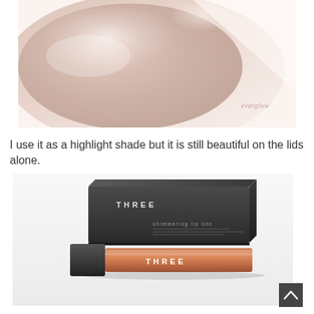[Figure (photo): Close-up swatch of a shimmery pale beige/pink eyeshadow on skin with text 'everglow' in pink italic script in the lower right corner]
I use it as a highlight shade but it is still beautiful on the lids alone.
[Figure (photo): Product photo of THREE brand shimmering lip tint in a rose gold/copper metallic tube with its black rectangular box packaging, brand name THREE visible on both]
[Figure (other): Scroll-to-top arrow button in dark grey square]